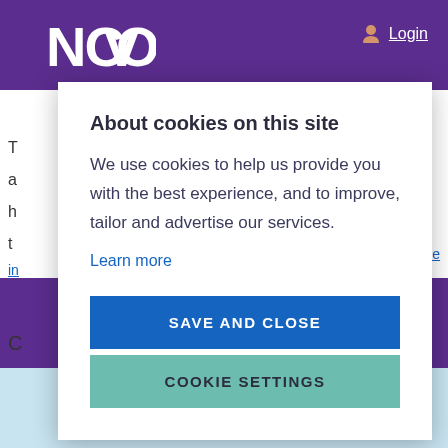[Figure (screenshot): NCVO website header with purple background showing NCVO logo on left and Login link on right]
About cookies on this site
We use cookies to help us provide you with the best experience, and to improve, tailor and advertise our services.
Learn more
SAVE AND CLOSE
COOKIE SETTINGS